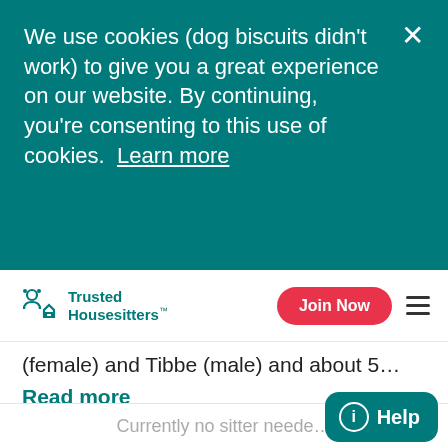We use cookies (dog biscuits didn't work) to give you a great experience on our website. By continuing, you're consenting to this use of cookies. Learn more
Trusted Housesitters
(female) and Tibbe (male) and about 5…
Read more
Home & location
Enkhuizen is a picture perfect town of about 17.000 inhabitants and has a lot of facilities. It has quite some touristic features, such as an open air
Currently no sitter needed